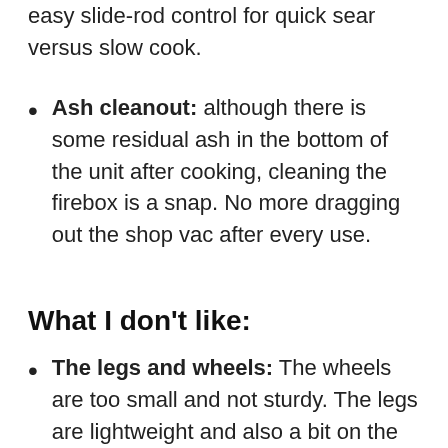easy slide-rod control for quick sear versus slow cook.
Ash cleanout: although there is some residual ash in the bottom of the unit after cooking, cleaning the firebox is a snap. No more dragging out the shop vac after every use.
What I don't like:
The legs and wheels: The wheels are too small and not sturdy. The legs are lightweight and also a bit on the flimsy side. You have to lay the unit down to deploy the legs and at 80 pounds, it's awkward especially with pellets in